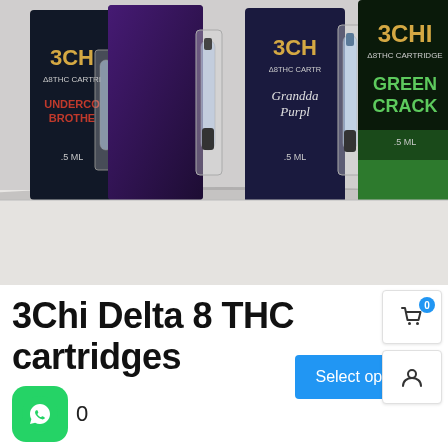[Figure (photo): Product photo showing multiple 3Chi Delta 8 THC vape cartridge packages on a white surface. Packages visible include 'Undercover Brothers' (0.5 ML), 'Granddaddy Purple' (0.5 ML), and 'Green Crack' (0.5 ML). Each package is dark/black with gold 3Chi branding and shows a clear cartridge.]
3Chi Delta 8 THC cartridges
0
Select options